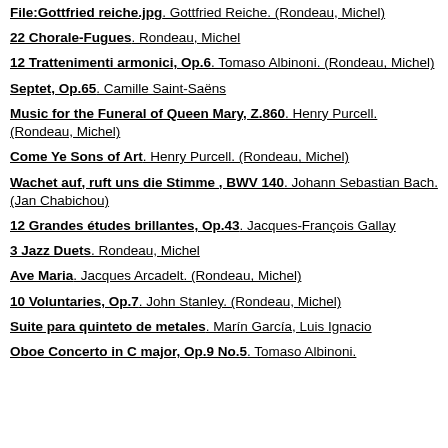File:Gottfried reiche.jpg. Gottfried Reiche. (Rondeau, Michel)
22 Chorale-Fugues. Rondeau, Michel
12 Trattenimenti armonici, Op.6. Tomaso Albinoni. (Rondeau, Michel)
Septet, Op.65. Camille Saint-Saëns
Music for the Funeral of Queen Mary, Z.860. Henry Purcell. (Rondeau, Michel)
Come Ye Sons of Art. Henry Purcell. (Rondeau, Michel)
Wachet auf, ruft uns die Stimme , BWV 140. Johann Sebastian Bach. (Jan Chabichou)
12 Grandes études brillantes, Op.43. Jacques-François Gallay
3 Jazz Duets. Rondeau, Michel
Ave Maria. Jacques Arcadelt. (Rondeau, Michel)
10 Voluntaries, Op.7. John Stanley. (Rondeau, Michel)
Suite para quinteto de metales. Marín García, Luis Ignacio
Oboe Concerto in C major, Op.9 No.5. Tomaso Albinoni.